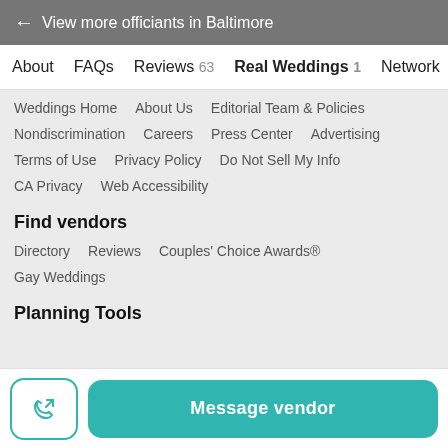← View more officiants in Baltimore
About   FAQs   Reviews 63   Real Weddings 1   Network
Weddings Home   About Us   Editorial Team & Policies
Nondiscrimination   Careers   Press Center   Advertising
Terms of Use   Privacy Policy   Do Not Sell My Info
CA Privacy   Web Accessibility
Find vendors
Directory   Reviews   Couples' Choice Awards®
Gay Weddings
Planning Tools
Message vendor